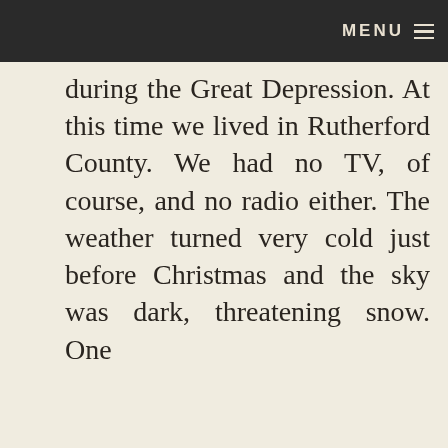MENU
during the Great Depression. At this time we lived in Rutherford County. We had no TV, of course, and no radio either. The weather turned very cold just before Christmas and the sky was dark, threatening snow. One